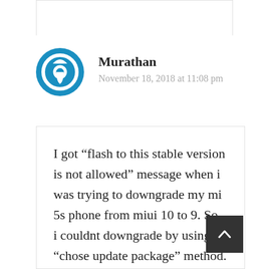Murathan
November 18, 2018 at 11:08 pm
I got “flash to this stable version is not allowed” message when i was trying to downgrade my mi 5s phone from miui 10 to 9. So, i couldnt downgrade by using “chose update package” method.